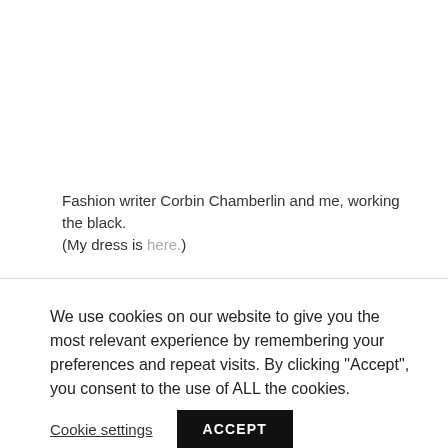Fashion writer Corbin Chamberlin and me, working the black. (My dress is here.)
We use cookies on our website to give you the most relevant experience by remembering your preferences and repeat visits. By clicking "Accept", you consent to the use of ALL the cookies.
Cookie settings
ACCEPT